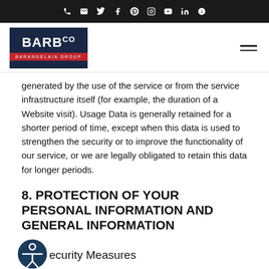BARBco — Barangelaia Group — social/contact nav bar
[Figure (logo): BARB Co logo with dark navy background and red Barangelaia Group subtext bar]
generated by the use of the service or from the service infrastructure itself (for example, the duration of a Website visit). Usage Data is generally retained for a shorter period of time, except when this data is used to strengthen the security or to improve the functionality of our service, or we are legally obligated to retain this data for longer periods.
8. PROTECTION OF YOUR PERSONAL INFORMATION AND GENERAL INFORMATION
Security Measures